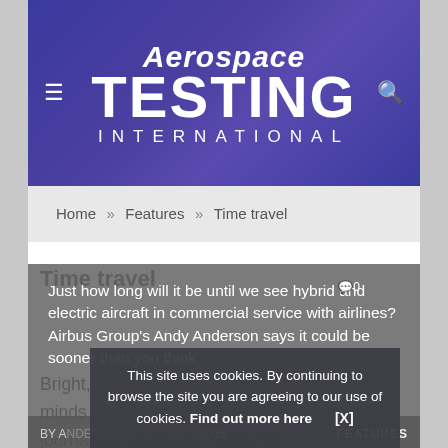[Figure (logo): Aerospace Testing International website header/logo with navigation hamburger icon and search icon on a purple/blue gradient banner background. Logo shows 'Aerospace TESTING INTERNATIONAL' in white bold italic text.]
Home » Features » Time travel
Time travel
Just how long will it be until we see hybrid and electric aircraft in commercial service with airlines? Airbus Group's Andy Anderson says it could be sooner than you think
BY A[...] 2016   FEATURES
Bright, risk averse, no-nonsense engineering minds don't like to be pinned down by pesky journalists asking aw[...] contempl[...]
This site uses cookies. By continuing to browse the site you are agreeing to our use of cookies. Find out more here   [X]